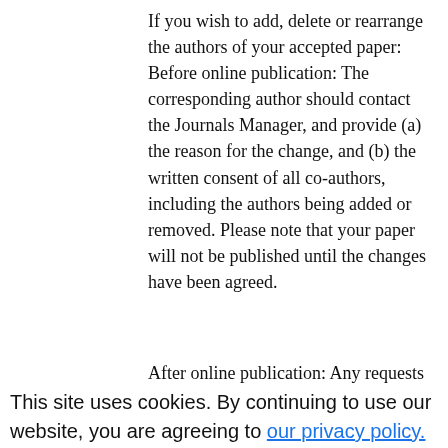If you wish to add, delete or rearrange the authors of your accepted paper: Before online publication: The corresponding author should contact the Journals Manager, and provide (a) the reason for the change, and (b) the written consent of all co-authors, including the authors being added or removed. Please note that your paper will not be published until the changes have been agreed.
After online publication: Any requests to
correct an error made with the author
This site uses cookies. By continuing to use our website, you are agreeing to our privacy policy. Accept